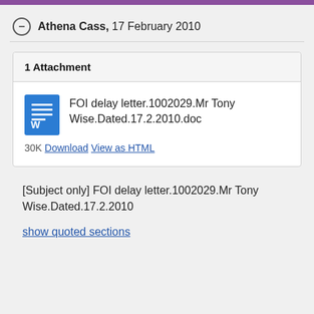Athena Cass, 17 February 2010
1 Attachment
FOI delay letter.1002029.Mr Tony Wise.Dated.17.2.2010.doc
30K Download View as HTML
[Subject only] FOI delay letter.1002029.Mr Tony Wise.Dated.17.2.2010
show quoted sections